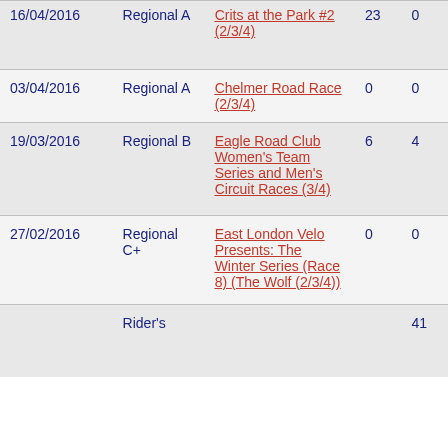| Date | Category | Event | Col1 | Col2 |
| --- | --- | --- | --- | --- |
| 16/04/2016 | Regional A | Crits at the Park #2 (2/3/4) | 23 | 0 |
| 03/04/2016 | Regional A | Chelmer Road Race (2/3/4) | 0 | 0 |
| 19/03/2016 | Regional B | Eagle Road Club Women's Team Series and Men's Circuit Races (3/4) | 6 | 4 |
| 27/02/2016 | Regional C+ | East London Velo Presents: The Winter Series (Race 8) (The Wolf (2/3/4)) | 0 | 0 |
|  | Rider's |  |  | 41 |